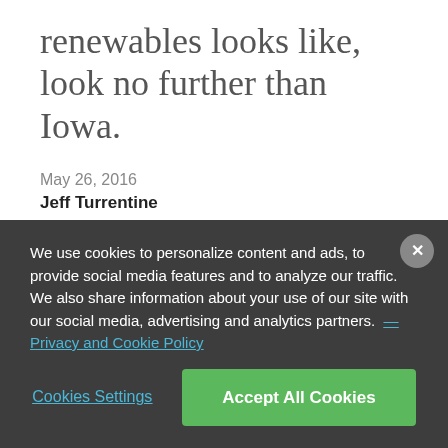renewables looks like, look no further than Iowa.
May 26, 2016
Jeff Turrentine
[Figure (other): Social share buttons: Facebook and Twitter icons]
We use cookies to personalize content and ads, to provide social media features and to analyze our traffic. We also share information about your use of our site with our social media, advertising and analytics partners. — Privacy and Cookie Policy
Cookies Settings
Accept All Cookies